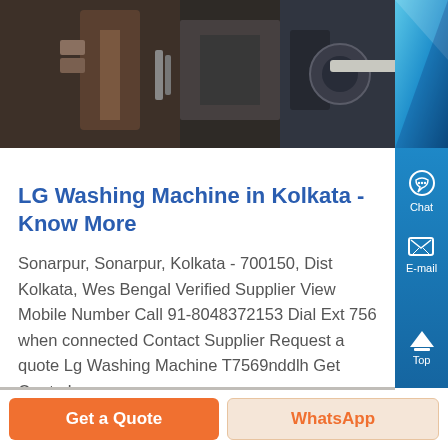[Figure (photo): Top industrial/machinery photo showing metal parts, pipes and mechanical equipment in dark tones]
LG Washing Machine in Kolkata - Know More
Sonarpur, Sonarpur, Kolkata - 700150, Dist Kolkata, West Bengal Verified Supplier View Mobile Number Call 91-8048372153 Dial Ext 756 when connected Contact Supplier Request a quote Lg Washing Machine T7569nddlh Get Quote Lg ,...
[Figure (photo): Bottom partial photo showing industrial or outdoor scene with structures]
Get a Quote
WhatsApp